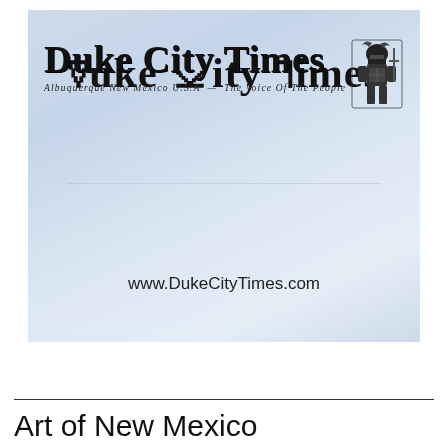[Figure (logo): Duke City Times newspaper masthead/logo on a light blue-gray background. Shows 'Duke City Times' in blackletter/Old English font with a knight mascot icon in the top right. Subtitle reads 'Albuquerque New Mexico U.S.A. — The Voice Of The People'. URL 'www.DukeCityTimes.com' shown below the masthead.]
Art of New Mexico